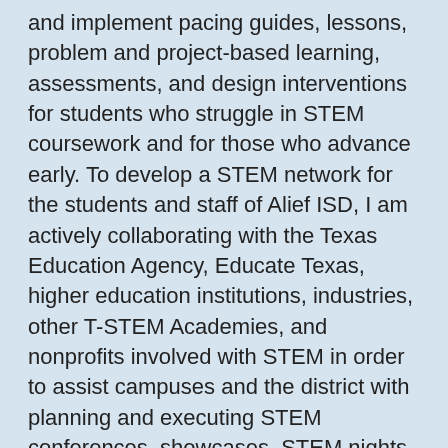and implement pacing guides, lessons, problem and project-based learning, assessments, and design interventions for students who struggle in STEM coursework and for those who advance early. To develop a STEM network for the students and staff of Alief ISD, I am actively collaborating with the Texas Education Agency, Educate Texas, higher education institutions, industries, other T-STEM Academies, and nonprofits involved with STEM in order to assist campuses and the district with planning and executing STEM conferences, showcases, STEM nights, orientation, and write curricula for all content. I am assisting in STEM education research and grant writing for the National Science Foundation (NSF), supervising and coordinating campus and district STEM showcases, conferences, field trips, professional development, marketing, and branding, after-school STEM programs, summer STEM camps, and competitions with district STEM partners.